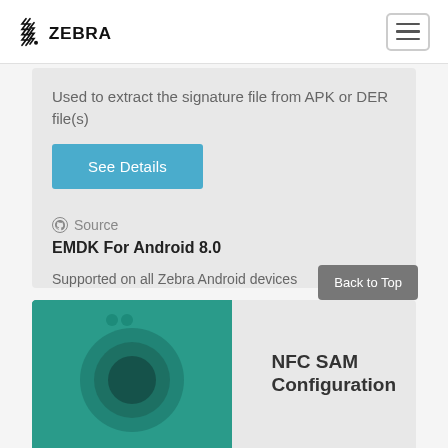ZEBRA
Used to extract the signature file from APK or DER file(s)
See Details
Source
EMDK For Android 8.0
Supported on all Zebra Android devices
NFC SAM Configuration